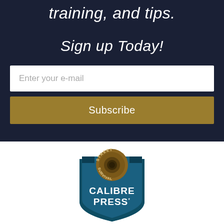training, and tips.
Sign up Today!
Enter your e-mail
Subscribe
[Figure (logo): Calibre Press Street Survival logo — a teal shield with a golden bullet/cartridge badge at the top reading 'STREET SURVIVAL', and white text 'CALIBRE PRESS' in the center of the shield]